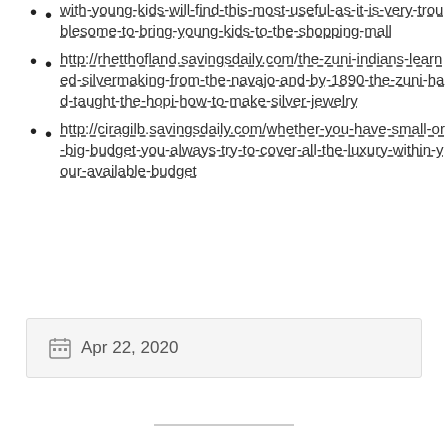with-young-kids-will-find-this-most-useful-as-it-is-very-troublesome-to-bring-young-kids-to-the-shopping-mall
http://rhetthofland.savingsdaily.com/the-zuni-indians-learned-silvermaking-from-the-navajo-and-by-1890-the-zuni-had-taught-the-hopi-how-to-make-silver-jewelry
http://ciragilb.savingsdaily.com/whether-you-have-small-or-big-budget-you-always-try-to-cover-all-the-luxury-within-your-available-budget
Apr 22, 2020